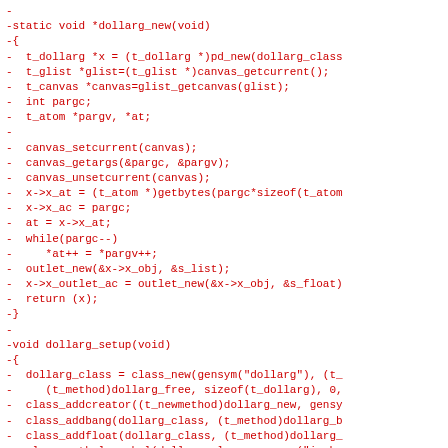- -static void *dollarg_new(void) -{ -  t_dollarg *x = (t_dollarg *)pd_new(dollarg_class -  t_glist *glist=(t_glist *)canvas_getcurrent(); -  t_canvas *canvas=glist_getcanvas(glist); -  int pargc; -  t_atom *pargv, *at; - -  canvas_setcurrent(canvas); -  canvas_getargs(&pargc, &pargv); -  canvas_unsetcurrent(canvas); -  x->x_at = (t_atom *)getbytes(pargc*sizeof(t_atom -  x->x_ac = pargc; -  at = x->x_at; -  while(pargc--) -     *at++ = *pargv++; -  outlet_new(&x->x_obj, &s_list); -  x->x_outlet_ac = outlet_new(&x->x_obj, &s_float) -  return (x); -} - -void dollarg_setup(void) -{ -  dollarg_class = class_new(gensym("dollarg"), (t_ -     (t_method)dollarg_free, sizeof(t_dollarg), 0, -  class_addcreator((t_newmethod)dollarg_new, gensy -  class_addbang(dollarg_class, (t_method)dollarg_b -  class_addfloat(dollarg_class, (t_method)dollarg_ -  class_sethelpsymbol(dollarg_class, gensym("iemhe